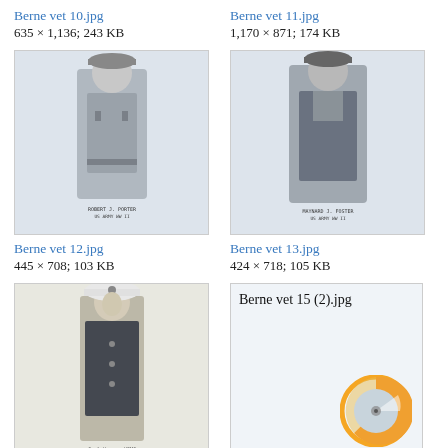Berne vet 10.jpg
635 × 1,136; 243 KB
Berne vet 11.jpg
1,170 × 871; 174 KB
[Figure (photo): Black and white photo of a soldier in military uniform, labeled ROBERT J. PORTER US ARMY WW II]
[Figure (photo): Black and white photo of a soldier in military uniform, labeled MAYNARD J. FOSTER US ARMY WW II]
Berne vet 12.jpg
445 × 708; 103 KB
Berne vet 13.jpg
424 × 718; 105 KB
[Figure (photo): Black and white photo of a young man in Marine uniform with white cap, labeled Carl Warner USMC]
[Figure (other): Missing file placeholder showing Berne vet 15 (2).jpg with a loading spinner icon]
Berne vet 14.jpg
657 × 1,045; 119 KB
Berne vet 15 (2).jpg
File missing